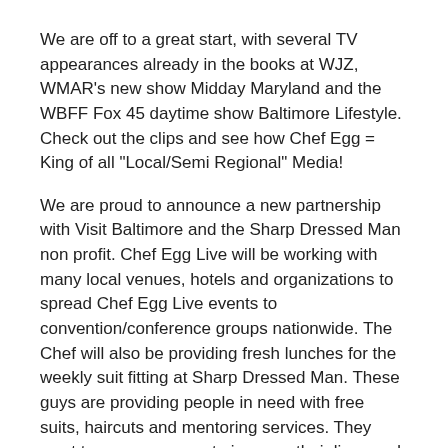We are off to a great start, with several TV appearances already in the books at WJZ, WMAR's new show Midday Maryland and the WBFF Fox 45 daytime show Baltimore Lifestyle. Check out the clips and see how Chef Egg = King of all "Local/Semi Regional" Media!
We are proud to announce a new partnership with Visit Baltimore and the Sharp Dressed Man non profit. Chef Egg Live will be working with many local venues, hotels and organizations to spread Chef Egg Live events to convention/conference groups nationwide. The Chef will also be providing fresh lunches for the weekly suit fitting at Sharp Dressed Man. These guys are providing people in need with free suits, haircuts and mentoring services. They want to empower men to improve their lives and it all starts with a fresh cut and new threads.
The Chef Egg Live: Cooking with S.T.E.A.M. Power has been working with several Baltimore City schools. The mission is to make the connection between the cooking process and S.T.E.M./S.T.E.A.M. learning. The kids and teachers are loving the programs and we are stoked to provide new educational